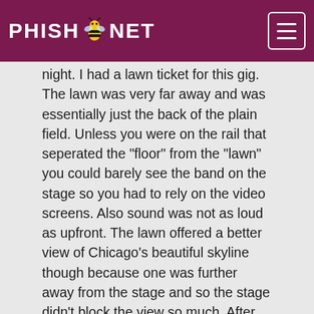PHISH.NET
night. I had a lawn ticket for this gig. The lawn was very far away and was essentially just the back of the plain field. Unless you were on the rail that seperated the "floor" from the "lawn" you could barely see the band on the stage so you had to rely on the video screens. Also sound was not as loud as upfront. The lawn offered a better view of Chicago's beautiful skyline though because one was further away from the stage and so the stage didn't block the view so much. After the sun had set the illuminated skyline was a breathtaking sight I will remember forever and it's documented well on the official pictures. Partly as a result of being on the lawn I experienced this concert as a dichotomous show: From afar the first set seemed extremely lackluster and dull, despite having a strong tune as opener, the rocking "Stealing Time From The Faulty Plan". Surely this is the weakest set of this three-night Chicago run as confirmed by many relistens of the recording. The second set is where the band got